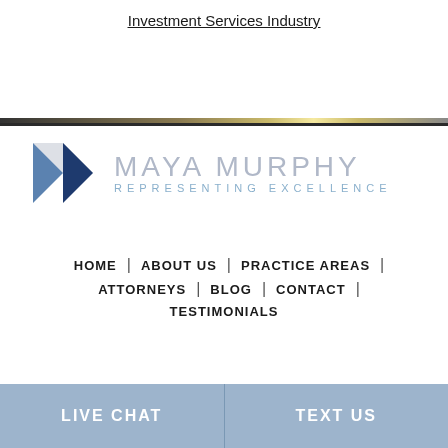Investment Services Industry
[Figure (logo): Maya Murphy law firm logo with geometric diamond/arrow shapes in blue and grey, with text MAYA MURPHY REPRESENTING EXCELLENCE]
HOME | ABOUT US | PRACTICE AREAS | ATTORNEYS | BLOG | CONTACT | TESTIMONIALS
LIVE CHAT | TEXT US